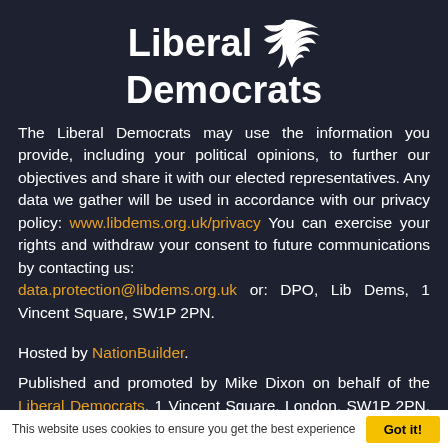[Figure (logo): Liberal Democrats logo with white bird/feather emblem and bold white text 'Liberal Democrats']
The Liberal Democrats may use the information you provide, including your political opinions, to further our objectives and share it with our elected representatives. Any data we gather will be used in accordance with our privacy policy: www.libdems.org.uk/privacy You can exercise your rights and withdraw your consent to future communications by contacting us: data.protection@libdems.org.uk or: DPO, Lib Dems, 1 Vincent Square, SW1P 2PN.
Hosted by NationBuilder.
Published and promoted by Mike Dixon on behalf of the Liberal Democrats, 1 Vincent Square, London, SW1P 2PN. Hosted by NationBuilder.
Volunteer   Donate   Donation Eligibility   Terms and
This website uses cookies to ensure you get the best experience   Got it!